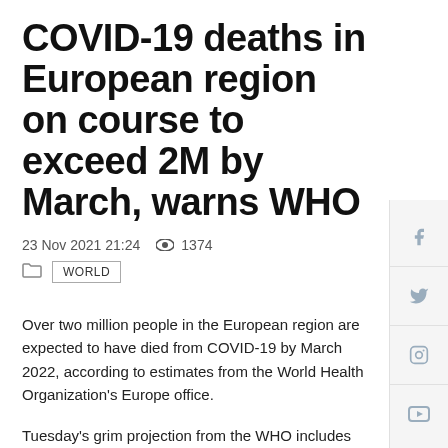COVID-19 deaths in European region on course to exceed 2M by March, warns WHO
23 Nov 2021 21:24  🔴 1374
WORLD
Over two million people in the European region are expected to have died from COVID-19 by March 2022, according to estimates from the World Health Organization's Europe office.
Tuesday's grim projection from the WHO includes data indicating that deaths due to the virus doubled last week compared to the end